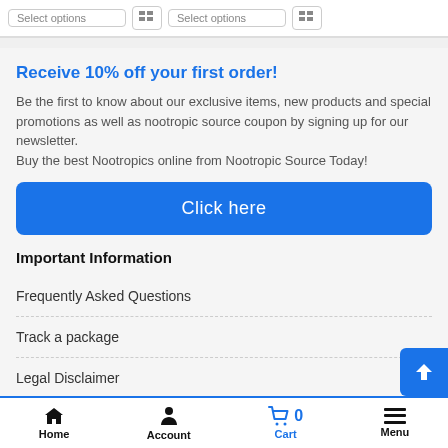Receive 10% off your first order!
Be the first to know about our exclusive items, new products and special promotions as well as nootropic source coupon by signing up for our newsletter.
Buy the best Nootropics online from Nootropic Source Today!
Click here
Important Information
Frequently Asked Questions
Track a package
Legal Disclaimer
Home   Account   Cart 0   Menu